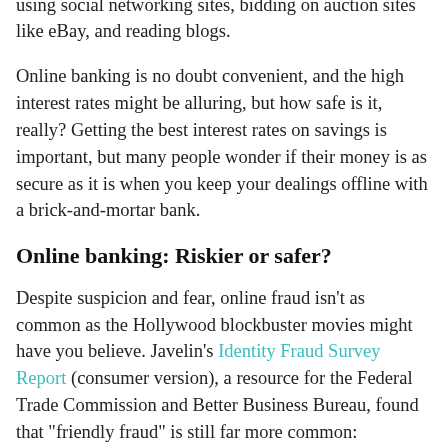fastest growing Internet activities, with more people managing their money online than looking for jobs, using social networking sites, bidding on auction sites like eBay, and reading blogs.
Online banking is no doubt convenient, and the high interest rates might be alluring, but how safe is it, really? Getting the best interest rates on savings is important, but many people wonder if their money is as secure as it is when you keep your dealings offline with a brick-and-mortar bank.
Online banking: Riskier or safer?
Despite suspicion and fear, online fraud isn't as common as the Hollywood blockbuster movies might have you believe. Javelin's Identity Fraud Survey Report (consumer version), a resource for the Federal Trade Commission and Better Business Bureau, found that "friendly fraud" is still far more common: